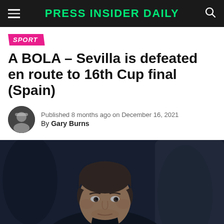PRESS INSIDER DAILY
SPORT
A BOLA – Sevilla is defeated en route to 16th Cup final (Spain)
Published 8 months ago on December 16, 2021
By Gary Burns
[Figure (photo): A man, presumably a football manager, seated in a dugout looking forward intently against a dark blurred background of stadium seats.]